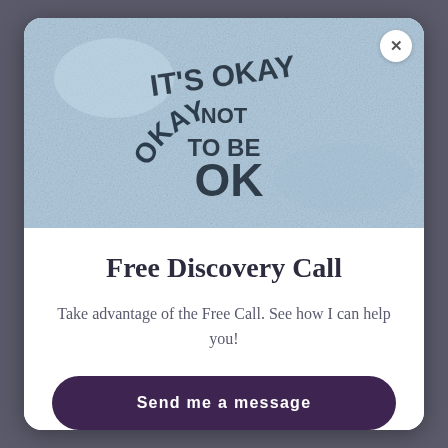[Figure (photo): A photo of a blue/grey textured surface with a circular rubber stamp reading 'IT'S OKAY NOT TO BE OK' and '#THESADCOLLECTIVE' around the edge]
Free Discovery Call
Take advantage of the Free Call. See how I can help you!
Send me a message